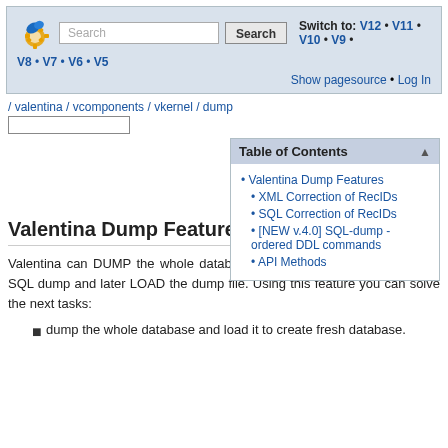Switch to: V12 • V11 • V10 • V9 • V8 • V7 • V6 • V5  Show pagesource • Log In
/ valentina / vcomponents / vkernel / dump
| Table of Contents |
| • Valentina Dump Features |
| • XML Correction of RecIDs |
| • SQL Correction of RecIDs |
| • [NEW v.4.0] SQL-dump - ordered DDL commands |
| • API Methods |
Valentina Dump Features
Valentina can DUMP the whole database or one of its table into XML or SQL dump and later LOAD the dump file. Using this feature you can solve the next tasks:
dump the whole database and load it to create fresh database.